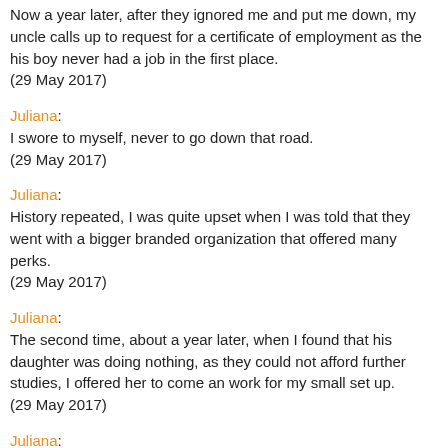Now a year later, after they ignored me and put me down, my uncle calls up to request for a certificate of employment as the his boy never had a job in the first place.
(29 May 2017)
Juliana:
I swore to myself, never to go down that road.
(29 May 2017)
Juliana:
History repeated, I was quite upset when I was told that they went with a bigger branded organization that offered many perks.
(29 May 2017)
Juliana:
The second time, about a year later, when I found that his daughter was doing nothing, as they could not afford further studies, I offered her to come an work for my small set up.
(29 May 2017)
Juliana: